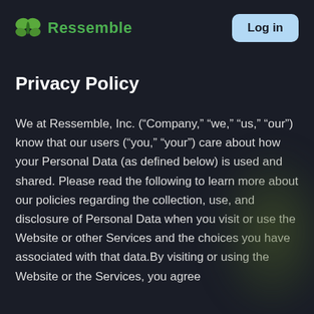Ressemble   Log in
Privacy Policy
We at Ressemble, Inc. (“Company,” “we,” “us,” “our”) know that our users (“you,” “your”) care about how your Personal Data (as defined below) is used and shared. Please read the following to learn more about our policies regarding the collection, use, and disclosure of Personal Data when you visit or use the Website or other Services and the choices you have associated with that data.By visiting or using the Website or the Services, you agree...